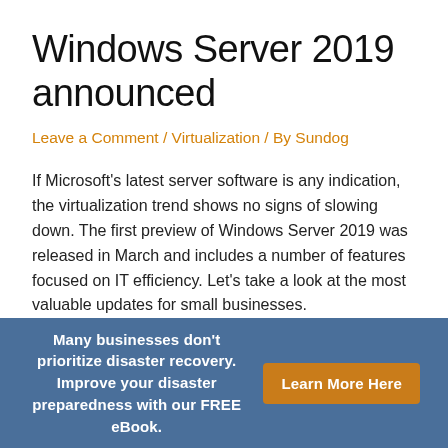Windows Server 2019 announced
Leave a Comment / Virtualization / By Sundog
If Microsoft's latest server software is any indication, the virtualization trend shows no signs of slowing down. The first preview of Windows Server 2019 was released in March and includes a number of features focused on IT efficiency. Let's take a look at the most valuable updates for small businesses.
Windows Server 2019
In March, Microsoft released a preview of Windows Server
Many businesses don't prioritize disaster recovery. Improve your disaster preparedness with our FREE eBook. Learn More Here